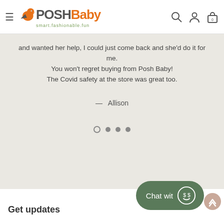PoshBaby — smart.fashionable.fun
and wanted her help, I could just come back and she'd do it for me.
You won't regret buying from Posh Baby!
The Covid safety at the store was great too.
— Allison
Get updates